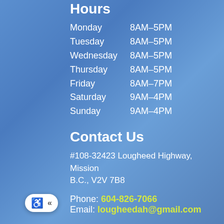Hours
Monday      8AM–5PM
Tuesday      8AM–5PM
Wednesday  8AM–5PM
Thursday     8AM–5PM
Friday          8AM–7PM
Saturday      9AM–4PM
Sunday        9AM–4PM
Contact Us
#108-32423 Lougheed Highway, Mission
B.C., V2V 7B8
Phone: 604-826-7066
Email: lougheedah@gmail.com